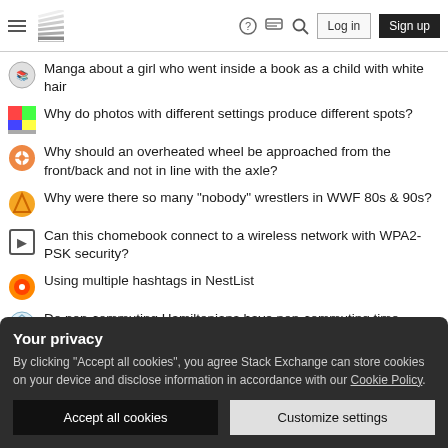Stack Exchange navigation header with hamburger menu, logo, help, chat, search icons, Log in and Sign up buttons
Manga about a girl who went inside a book as a child with white hair
Why do photos with different settings produce different spots?
Why should an overheated wheel be approached from the front/back and not in line with the axle?
Why were there so many "nobody" wrestlers in WWF 80s & 90s?
Can this chomebook connect to a wireless network with WPA2-PSK security?
Using multiple hashtags in NestList
Do non-commuting Hamiltonians have non-commuting time evolution operator?
Your privacy
By clicking "Accept all cookies", you agree Stack Exchange can store cookies on your device and disclose information in accordance with our Cookie Policy.
Accept all cookies  Customize settings